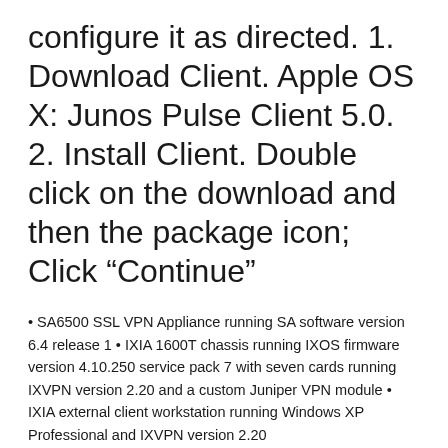configure it as directed. 1. Download Client. Apple OS X: Junos Pulse Client 5.0. 2. Install Client. Double click on the download and then the package icon; Click “Continue”
• SA6500 SSL VPN Appliance running SA software version 6.4 release 1 • IXIA 1600T chassis running IXOS firmware version 4.10.250 service pack 7 with seven cards running IXVPN version 2.20 and a custom Juniper VPN module • IXIA external client workstation running Windows XP Professional and IXVPN version 2.20
All of my experience is with Juniper’s SSL VPN products (which install a very slick Java application that works wonderfully in OS X)